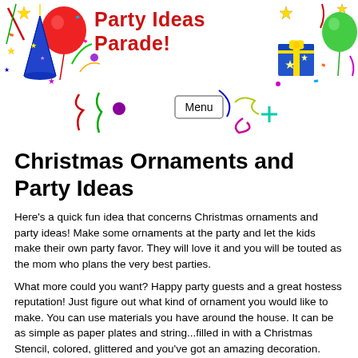Party Ideas Parade!
[Figure (illustration): Party decorations header with balloons, confetti, party hat on the left, gift boxes and green balloon on the right, colorful streamers and navigation elements in center]
Christmas Ornaments and Party Ideas
Here's a quick fun idea that concerns Christmas ornaments and party ideas! Make some ornaments at the party and let the kids make their own party favor. They will love it and you will be touted as the mom who plans the very best parties.
What more could you want? Happy party guests and a great hostess reputation! Just figure out what kind of ornament you would like to make. You can use materials you have around the house. It can be as simple as paper plates and string...filled in with a Christmas Stencil, colored, glittered and you've got an amazing decoration.
Find the ornament you like, get enough supplies so each child can make one and you are ready to go. The kids are going to like this one.
If you want to buy an ornament making kit I would check the Oriental